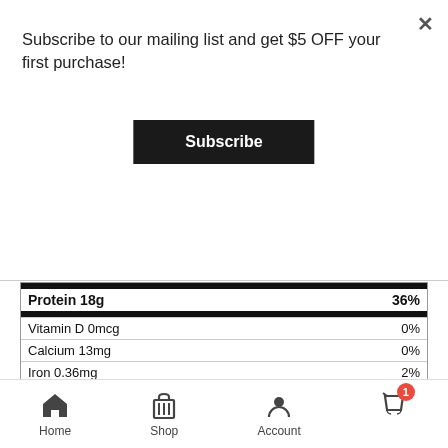Subscribe to our mailing list and get $5 OFF your first purchase!
Subscribe
| Nutrient | Amount | % DV |
| --- | --- | --- |
| Protein 18g |  | 36% |
| Vitamin D 0mcg |  | 0% |
| Calcium 13mg |  | 0% |
| Iron 0.36mg |  | 2% |
| Potassium 0mg |  | 0% |
*The % Daily Value (DV) tells you how much a nutrient in a serving of food contributes to a daily diet. 2,000 calories a day is used for general nutrition advice.
Millet Flour, Brown Rice Flour, Water , Ground Flax Seed ,Sea Salt , Sunflower Oil/ Olive Oil, Non Aluminum Baking Powder (Sodium Bicarbonate,Potato Starch ,Monocalcium Phosphate), Culture Brown
Home  Shop  Account  1